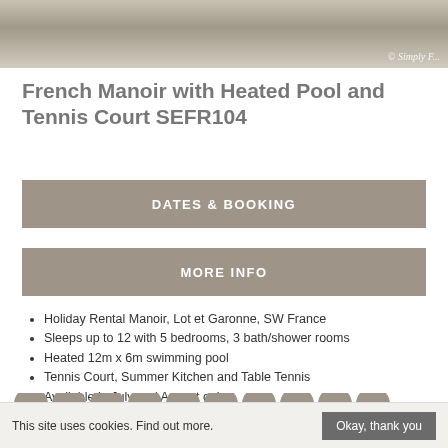[Figure (photo): Partial photo of a French Manoir property with watermark '© Simply F...']
French Manoir with Heated Pool and Tennis Court SEFR104
DATES & BOOKING
MORE INFO
Holiday Rental Manoir, Lot et Garonne, SW France
Sleeps up to 12 with 5 bedrooms, 3 bath/shower rooms
Heated 12m x 6m swimming pool
Tennis Court, Summer Kitchen and Table Tennis
Available in July and August only
30 mins to Bergerac Airport and Dordogne River
£5250 rental per week
This site uses cookies. Find out more.